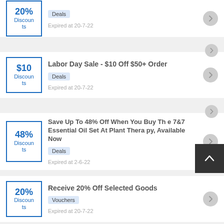20% Discounts | Deals | Expired at 20-7-22
Labor Day Sale - $10 Off $50+ Order | $10 Discounts | Deals | Expired at 20-7-22
Save Up To 48% Off When You Buy The 7&7 Essential Oil Set At Plant Therapy, Available Now | 48% Discounts | Deals | Expired at 2-6-22
Receive 20% Off Selected Goods | 20% Discounts | Vouchers | Expired at 20-7-22